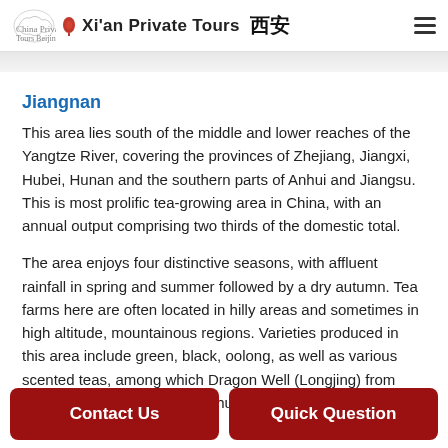Xi'an Private Tours
Jiangnan
This area lies south of the middle and lower reaches of the Yangtze River, covering the provinces of Zhejiang, Jiangxi, Hubei, Hunan and the southern parts of Anhui and Jiangsu. This is most prolific tea-growing area in China, with an annual output comprising two thirds of the domestic total.
The area enjoys four distinctive seasons, with affluent rainfall in spring and summer followed by a dry autumn. Tea farms here are often located in hilly areas and sometimes in high altitude, mountainous regions. Varieties produced in this area include green, black, oolong, as well as various scented teas, among which Dragon Well (Longjing) from Zhejiang Province and Biluochun from Jiangsu…
Contact Us | Quick Question